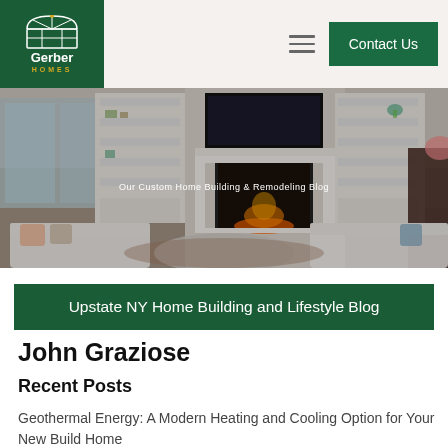[Figure (logo): Gerber Homes logo — green square background with white arch/window icon, 'Gerber' in white bold text, 'HOMES' in gold letter-spaced text below]
[Figure (screenshot): Website navigation bar with Gerber Homes logo on left, hamburger menu icon and 'Contact Us' green button on right, on a beige background]
[Figure (photo): Hero banner showing an elegant living room interior with white built-in shelving, fireplace, TV mounted above mantle, sofas with patterned pillows, overlaid text reads 'Our Custom Home Building & Remodeling Blog']
Upstate NY Home Building and Lifestyle Blog
John Graziose
Recent Posts
Geothermal Energy: A Modern Heating and Cooling Option for Your New Build Home